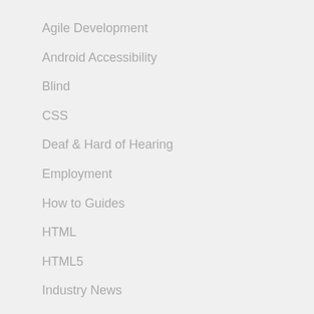Agile Development
Android Accessibility
Blind
CSS
Deaf & Hard of Hearing
Employment
How to Guides
HTML
HTML5
Industry News
Intellectual Disabilities
iOS Accessibility